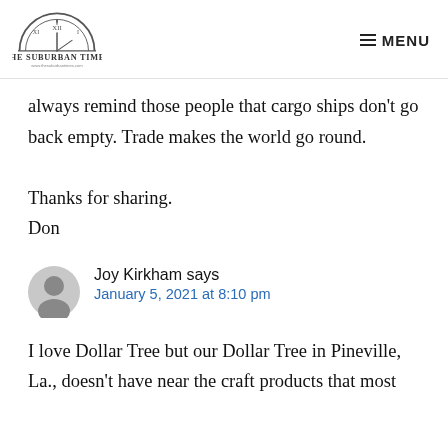THE SUBURBAN TIMES | MENU
always remind those people that cargo ships don't go back empty. Trade makes the world go round.
Thanks for sharing.
Don
Joy Kirkham says
January 5, 2021 at 8:10 pm
I love Dollar Tree but our Dollar Tree in Pineville, La., doesn't have near the craft products that most